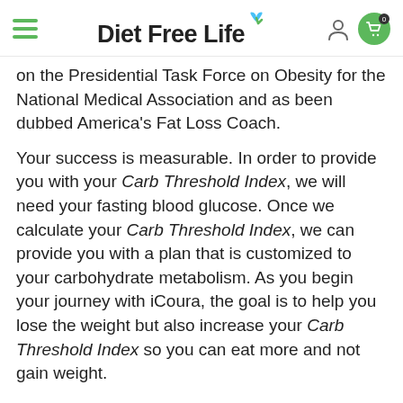Diet Free Life
on the Presidential Task Force on Obesity for the National Medical Association and as been dubbed America's Fat Loss Coach.
Your success is measurable. In order to provide you with your Carb Threshold Index, we will need your fasting blood glucose. Once we calculate your Carb Threshold Index, we can provide you with a plan that is customized to your carbohydrate metabolism. As you begin your journey with iCoura, the goal is to help you lose the weight but also increase your Carb Threshold Index so you can eat more and not gain weight.